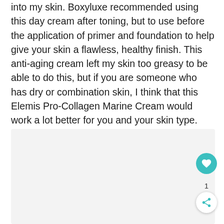into my skin. Boxyluxe recommended using this day cream after toning, but to use before the application of primer and foundation to help give your skin a flawless, healthy finish. This anti-aging cream left my skin too greasy to be able to do this, but if you are someone who has dry or combination skin, I think that this Elemis Pro-Collagen Marine Cream would work a lot better for you and your skin type.
[Figure (photo): A light gray rectangular image placeholder box below the review text.]